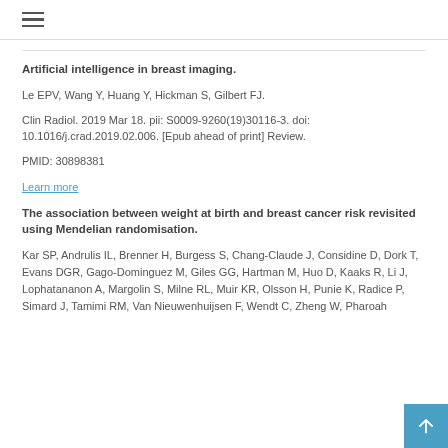≡
Artificial intelligence in breast imaging.
Le EPV, Wang Y, Huang Y, Hickman S, Gilbert FJ.
Clin Radiol. 2019 Mar 18. pii: S0009-9260(19)30116-3. doi: 10.1016/j.crad.2019.02.006. [Epub ahead of print] Review.
PMID: 30898381
Learn more
The association between weight at birth and breast cancer risk revisited using Mendelian randomisation.
Kar SP, Andrulis IL, Brenner H, Burgess S, Chang-Claude J, Considine D, Dork T, Evans DGR, Gago-Dominguez M, Giles GG, Hartman M, Huo D, Kaaks R, Li J, Lophatananon A, Margolin S, Milne RL, Muir KR, Olsson H, Punie K, Radice P, Simard J, Tamimi RM, Van Nieuwenhuijsen F, Wendt C, Zheng W, Pharoah